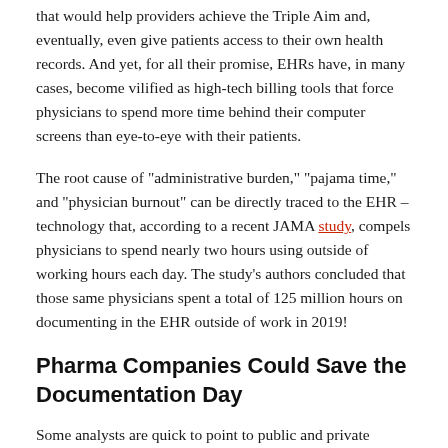that would help providers achieve the Triple Aim and, eventually, even give patients access to their own health records. And yet, for all their promise, EHRs have, in many cases, become vilified as high-tech billing tools that force physicians to spend more time behind their computer screens than eye-to-eye with their patients.
The root cause of "administrative burden," "pajama time," and "physician burnout" can be directly traced to the EHR – technology that, according to a recent JAMA study, compels physicians to spend nearly two hours using outside of working hours each day. The study's authors concluded that those same physicians spent a total of 125 million hours on documenting in the EHR outside of work in 2019!
Pharma Companies Could Save the Documentation Day
Some analysts are quick to point to public and private payers as contributors to the documentation hoops providers are